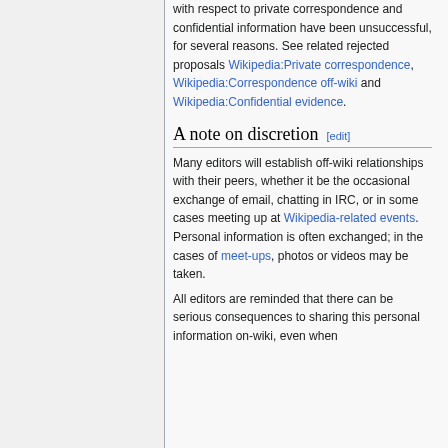with respect to private correspondence and confidential information have been unsuccessful, for several reasons. See related rejected proposals Wikipedia:Private correspondence, Wikipedia:Correspondence off-wiki and Wikipedia:Confidential evidence.
A note on discretion [edit]
Many editors will establish off-wiki relationships with their peers, whether it be the occasional exchange of email, chatting in IRC, or in some cases meeting up at Wikipedia-related events. Personal information is often exchanged; in the cases of meet-ups, photos or videos may be taken.
All editors are reminded that there can be serious consequences to sharing this personal information on-wiki, even when